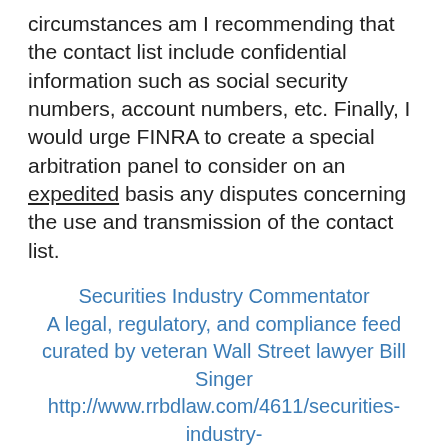circumstances am I recommending that the contact list include confidential information such as social security numbers, account numbers, etc. Finally, I would urge FINRA to create a special arbitration panel to consider on an expedited basis any disputes concerning the use and transmission of the contact list.
Securities Industry Commentator
A legal, regulatory, and compliance feed curated by veteran Wall Street lawyer Bill Singer
http://www.rrbdlaw.com/4611/securities-industry-commentator/
SEC Cancels PCAOB Sanctions. In the Matter of the Application of Cynthia C. Reinhart, CPA For Review of Action Taken by the PCAOB (SEC Opinion; '34 Act Rel No. 85964; Admin. Proc. File